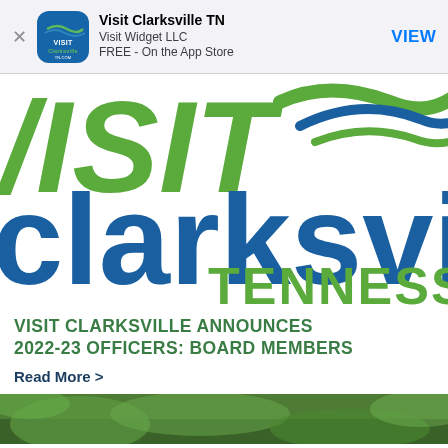[Figure (screenshot): App Store banner showing Visit Clarksville TN app by Visit Widget LLC, FREE on the App Store, with VIEW button]
[Figure (logo): Visit Clarksville Tennessee logo with large green /ISIT text and blue clarksvill text with TENNESS below, and swooping wave graphic in green and blue]
VISIT CLARKSVILLE ANNOUNCES 2022-23 OFFICERS: BOARD MEMBERS
Read More >
[Figure (photo): Bottom strip showing partial outdoor nature/landscape photo]